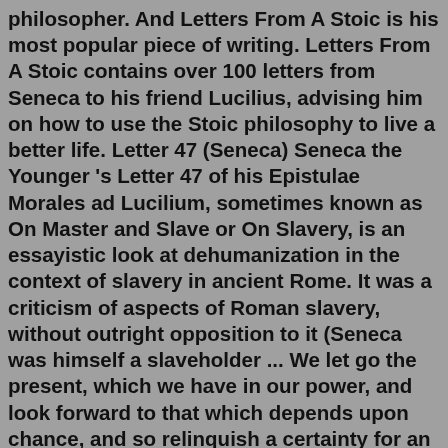philosopher. And Letters From A Stoic is his most popular piece of writing. Letters From A Stoic contains over 100 letters from Seneca to his friend Lucilius, advising him on how to use the Stoic philosophy to live a better life. Letter 47 (Seneca) Seneca the Younger 's Letter 47 of his Epistulae Morales ad Lucilium, sometimes known as On Master and Slave or On Slavery, is an essayistic look at dehumanization in the context of slavery in ancient Rome. It was a criticism of aspects of Roman slavery, without outright opposition to it (Seneca was himself a slaveholder ... We let go the present, which we have in our power, and look forward to that which depends upon chance, and so relinquish a certainty for an uncertainty. Seneca the Younger. Letting Go, Time, Future. 16 Copy quote. The path of increase is slow, but the road to ruin is rapid. Seneca the Younger. Ruins, Path, Increase. A series of short audio meditations on Seneca's Letters to his friend Lucilius. I.1: This could be the last day of your life. Are you going to waste it by binging on mediocre television.